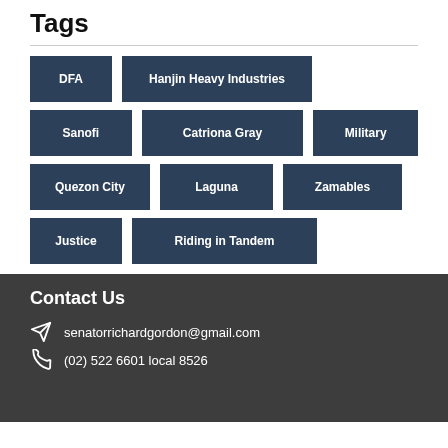Tags
DFA
Hanjin Heavy Industries
Sanofi
Catriona Gray
Military
Quezon City
Laguna
Zamables
Justice
Riding in Tandem
Contact Us
senatorrichardgordon@gmail.com
(02) 522 6601 local 8526